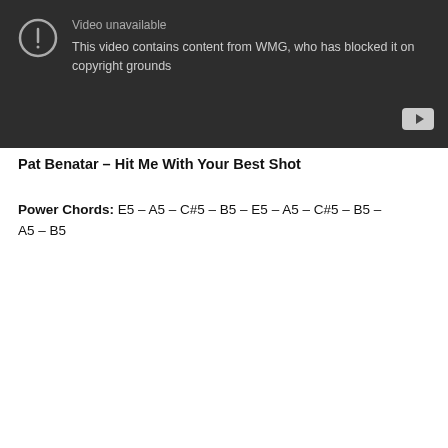[Figure (screenshot): YouTube video unavailable block with warning icon and text: 'Video unavailable. This video contains content from WMG, who has blocked it on copyright grounds.' Dark gray background with YouTube button in bottom right corner.]
Pat Benatar – Hit Me With Your Best Shot
Power Chords: E5 – A5 – C#5 – B5 – E5 – A5 – C#5 – B5 – A5 – B5
[Figure (screenshot): YouTube embed player showing 'Hit Me With Your Best Shot (Remastere...' with thumbnail of Pat Benatar, red YouTube play button, and three-dot menu. Dark blue background with blue side bars.]